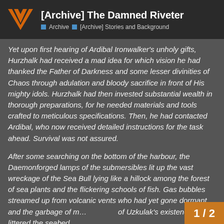[Archive] The Damned Riveter
Yet upon first hearing of Ardibal Ironwalker's unholy gifts, Hurzhalk had received a mad idea for which vision he had thanked the Father of Darkness and some lesser divinities of Chaos through adulation and bloody sacrifice in front of His mighty idols. Hurzhalk had then invested substantial wealth in thorough preparations, for he needed materials and tools crafted to meticulous specifications. Then, he had contacted Ardibal, who now received detailed instructions for the task ahead. Survival was not assured.
After some searching on the bottom of the harbour, the Daemonforged lamps of the submersibles lit up the vast wreckage of the Sea Bull lying like a hillock among the forest of sea plants and the flickering schools of fish. Gas bubbles streamed up from volcanic vents who had yet gone dormant, and the garbage of millennia of Uzkulak's existence littered the seabed swept past the submersibles as most...
1 / 2